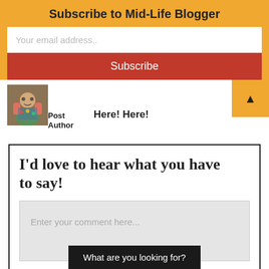Subscribe to Mid-Life Blogger
Your email address..
Subscribe
[Figure (photo): Post Author avatar photo of a person with colorful clothing]
Post Author
Here! Here!
I'd love to hear what you have to say!
Enter your comment here...
What are you looking for?